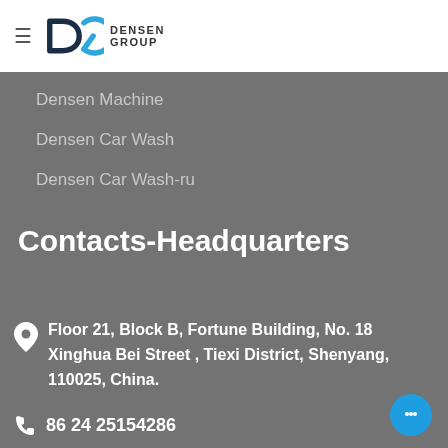≡ DENSEN GROUP
Densen Machine
Densen Car Wash
Densen Car Wash-ru
Contacts-Headquarters
Floor 21, Block B, Fortune Building, No. 18 Xinghua Bei Street , Tiexi District, Shenyang, 110025, China.
86 24 25154286